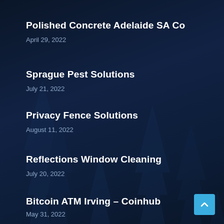Polished Concrete Adelaide SA Co
April 29, 2022
Sprague Pest Solutions
July 21, 2022
Privacy Fence Solutions
August 11, 2022
Reflections Window Cleaning
July 20, 2022
Bitcoin ATM Irving – Coinhub
May 31, 2022